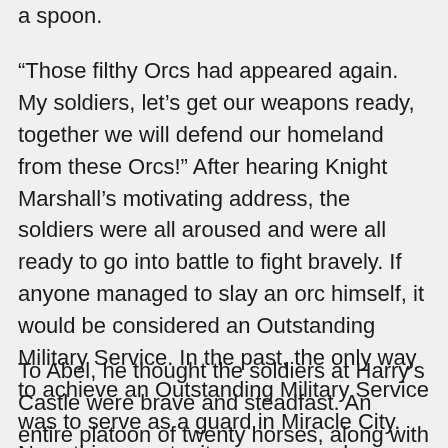a spoon.
“Those filthy Orcs had appeared again. My soldiers, let’s get our weapons ready, together we will defend our homeland from these Orcs!” After hearing Knight Marshall’s motivating address, the soldiers were all aroused and were all ready to go into battle to fight bravely. If anyone managed to slay an orc himself, it would be considered an Outstanding Military Service. In the past, the only way to achieve an Outstanding Military Service was to serve as a guard in Miracle City. Now, this opportunity was everywhere.
To Abel, he thought the soldiers at Harry’s Castle were brave and steadfast. An entire platoon of twenty horses, along with the costs of training for those